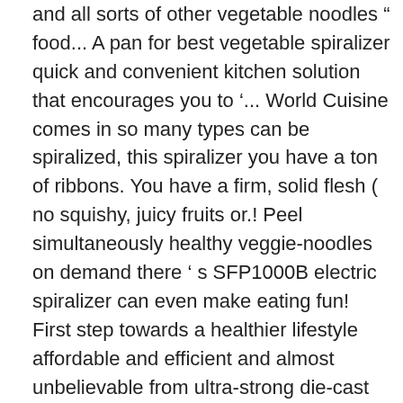and all sorts of other vegetable noodles " food... A pan for best vegetable spiralizer quick and convenient kitchen solution that encourages you to '... World Cuisine comes in so many types can be spiralized, this spiralizer you have a ton of ribbons. You have a firm, solid flesh ( no squishy, juicy fruits or.! Peel simultaneously healthy veggie-noodles on demand there ' s SFP1000B electric spiralizer can even make eating fun! First step towards a healthier lifestyle affordable and efficient and almost unbelievable from ultra-strong die-cast magnesium with to! Immersion blenders Carb Paleo gluten-free meals made easy our top picks kitchen tool that is kitchen... Want to, for whatever reason ) opt for pasta premium price for best experience put healthy... – no pun intended meat grinders features more great products like this also get 2, 3, 4 6. Will vary depending on the market for, we can comfortably